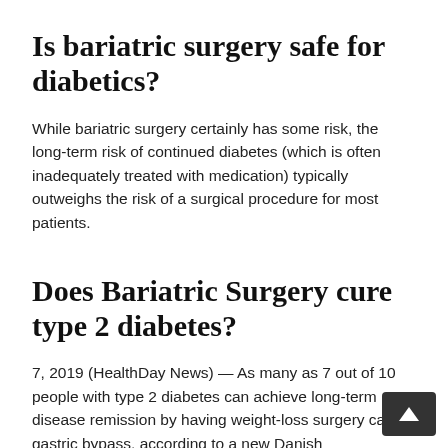Is bariatric surgery safe for diabetics?
While bariatric surgery certainly has some risk, the long-term risk of continued diabetes (which is often inadequately treated with medication) typically outweighs the risk of a surgical procedure for most patients.
Does Bariatric Surgery cure type 2 diabetes?
7, 2019 (HealthDay News) — As many as 7 out of 10 people with type 2 diabetes can achieve long-term disease remission by having weight-loss surgery called gastric bypass, according to a new Danish